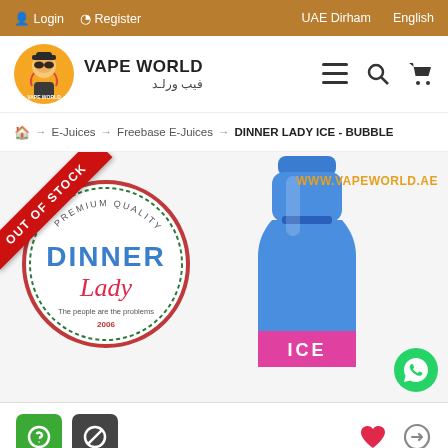Login  Register  UAE Dirham  English
[Figure (logo): Vape World logo with cartoon character wearing sunglasses and Arabic text]
VAPE WORLD / فيب ورلد
Home → E-Juices → Freebase E-Juices → DINNER LADY ICE - BUBBLE
[Figure (photo): Dinner Lady ICE bubble vape juice product bottle in blue, marked out of stock with red ribbon diagonal banner. Website URL www.vapeworld.ae shown in orange. WhatsApp button in bottom right.]